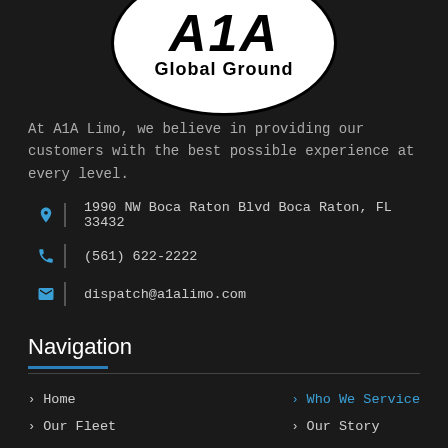[Figure (logo): A1A Global Ground logo — white oval/circle with bold italic 'A1A' text and 'Global Ground' below, black border on dark background]
At A1A Limo, we believe in providing our customers with the best possible experience at every level.
1990 NW Boca Raton Blvd Boca Raton, FL 33432
(561) 622-2222
dispatch@a1alimo.com
Navigation
Home
Who We Service
Our Fleet
Our Story